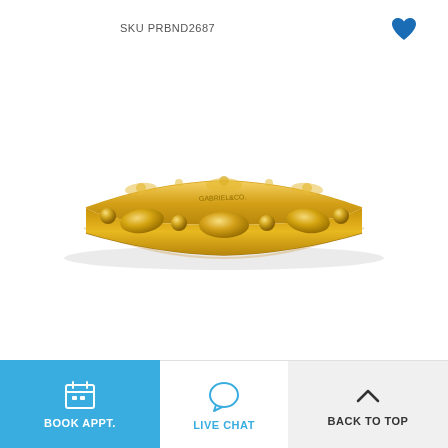SKU PRBND2687
[Figure (photo): A gold band ring with alternating oval and bead shapes, polished yellow gold finish, shown on white background. Brand mark visible inside band.]
BOOK APPT.
LIVE CHAT
BACK TO TOP